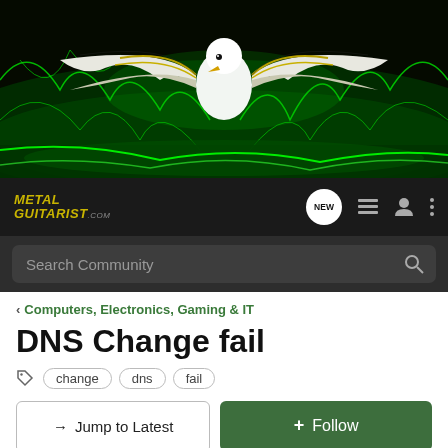[Figure (illustration): Metal Guitarist forum website banner with eagle logo on green electric lightning background]
METAL GUITARIST.com — navigation bar with NEW button, list icon, user icon, and more icon
Search Community
< Computers, Electronics, Gaming & IT
DNS Change fail
change  dns  fail
→ Jump to Latest  ⊕ Follow
1 - 9 of 9 Posts
343 • Read Only